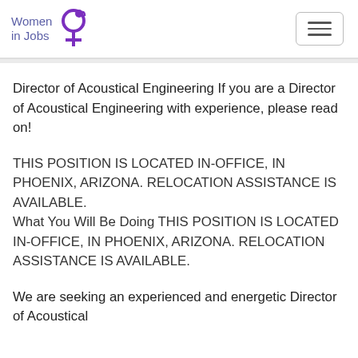[Figure (logo): Women in Jobs logo with female symbol in purple]
Director of Acoustical Engineering If you are a Director of Acoustical Engineering with experience, please read on!
THIS POSITION IS LOCATED IN-OFFICE, IN PHOENIX, ARIZONA. RELOCATION ASSISTANCE IS AVAILABLE. What You Will Be Doing THIS POSITION IS LOCATED IN-OFFICE, IN PHOENIX, ARIZONA. RELOCATION ASSISTANCE IS AVAILABLE.
We are seeking an experienced and energetic Director of Acoustical